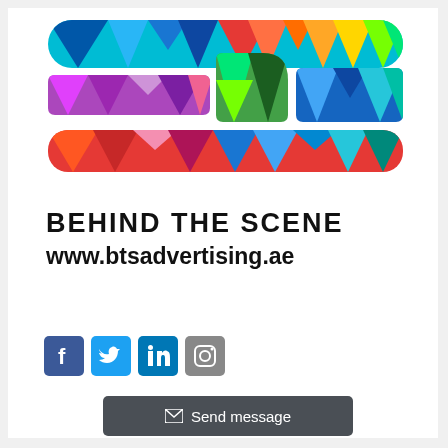[Figure (logo): BTS (Behind The Scene) colorful polygonal logo with geometric triangles in cyan, blue, red, orange, yellow, purple, magenta, green on top section, and letter shapes B, J, S formed from colored polygon strips]
BEHIND THE SCENE
www.btsadvertising.ae
[Figure (infographic): Social media icons: Facebook (blue), Twitter (light blue), LinkedIn (dark blue), Instagram (grey) as square icons with rounded corners]
Send message